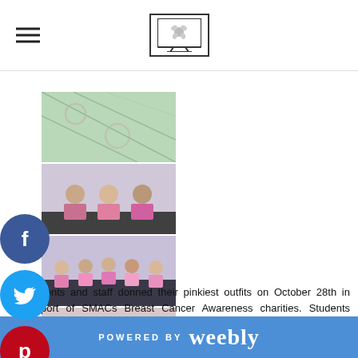[School logo / navigation header]
[Figure (photo): Photo of a wall with painted patterns in pink/green]
[Figure (photo): Photo of teachers/staff in pink outfits]
[Figure (photo): Photo of students in pink outfits, group shot]
[Figure (photo): Photo of students in pink/red outfits, group shot]
Students and staff donned their pinkiest outfits on October 28th in support of SMACs Breast Cancer Awareness charities. Students donated to have their faces painted, while teachers around the district
POWERED BY weebly